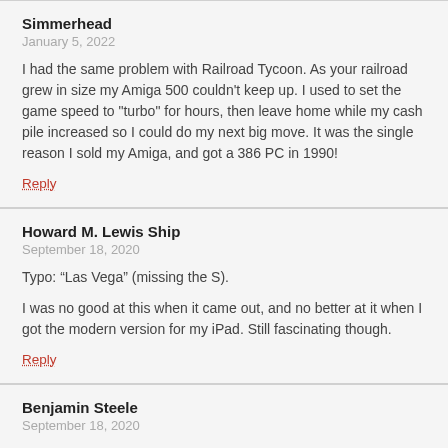Simmerhead
January 5, 2022
I had the same problem with Railroad Tycoon. As your railroad grew in size my Amiga 500 couldn't keep up. I used to set the game speed to "turbo" for hours, then leave home while my cash pile increased so I could do my next big move. It was the single reason I sold my Amiga, and got a 386 PC in 1990!
Reply
Howard M. Lewis Ship
September 18, 2020
Typo: “Las Vega” (missing the S).
I was no good at this when it came out, and no better at it when I got the modern version for my iPad. Still fascinating though.
Reply
Benjamin Steele
September 18, 2020